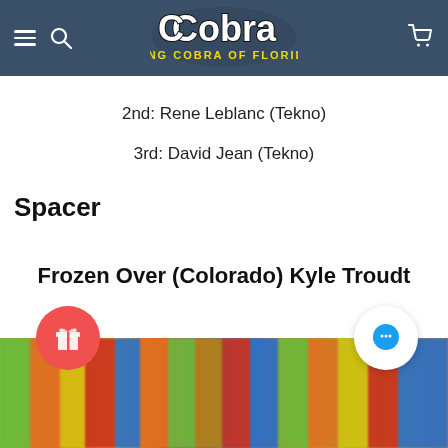King Cobra of Florida — navigation header with logo
2nd: Rene Leblanc (Tekno)
3rd: David Jean (Tekno)
Spacer
Frozen Over (Colorado) Kyle Troudt
[Figure (photo): Colorful RC cars or hobby products arranged in a row, partially visible at bottom of page]